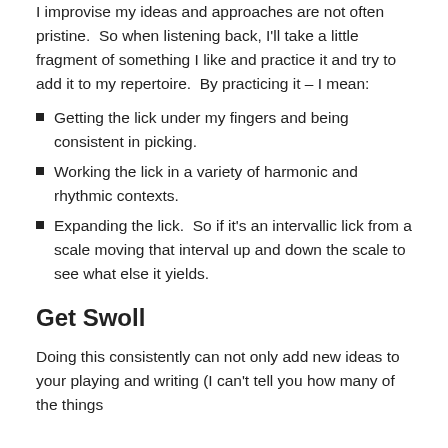I improvise my ideas and approaches are not often pristine.  So when listening back, I'll take a little fragment of something I like and practice it and try to add it to my repertoire.  By practicing it – I mean:
Getting the lick under my fingers and being consistent in picking.
Working the lick in a variety of harmonic and rhythmic contexts.
Expanding the lick.  So if it's an intervallic lick from a scale moving that interval up and down the scale to see what else it yields.
Get Swoll
Doing this consistently can not only add new ideas to your playing and writing (I can't tell you how many of the things